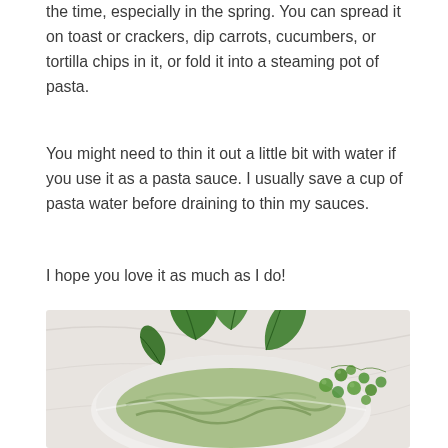the time, especially in the spring. You can spread it on toast or crackers, dip carrots, cucumbers, or tortilla chips in it, or fold it into a steaming pot of pasta.
You might need to thin it out a little bit with water if you use it as a pasta sauce. I usually save a cup of pasta water before draining to thin my sauces.
I hope you love it as much as I do!
[Figure (photo): Photo of a white bowl containing green pesto pasta topped with large fresh basil leaves, with scattered green peas visible on the right side, on a marble surface.]